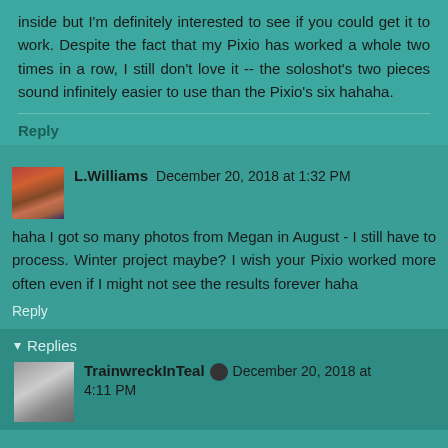inside but I'm definitely interested to see if you could get it to work. Despite the fact that my Pixio has worked a whole two times in a row, I still don't love it -- the soloshot's two pieces sound infinitely easier to use than the Pixio's six hahaha.
Reply
L.Williams December 20, 2018 at 1:32 PM
haha I got so many photos from Megan in August - I still have to process. Winter project maybe? I wish your Pixio worked more often even if I might not see the results forever haha
Reply
Replies
TrainwreckInTeal December 20, 2018 at 4:11 PM